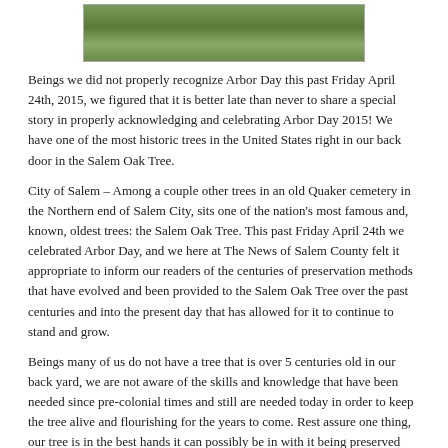[Figure (photo): Photograph of a grassy outdoor area, possibly a cemetery or park, with green grass and some stones visible in the background.]
Beings we did not properly recognize Arbor Day this past Friday April 24th, 2015, we figured that it is better late than never to share a special story in properly acknowledging and celebrating Arbor Day 2015! We have one of the most historic trees in the United States right in our back door in the Salem Oak Tree.
City of Salem – Among a couple other trees in an old Quaker cemetery in the Northern end of Salem City, sits one of the nation's most famous and, known, oldest trees: the Salem Oak Tree. This past Friday April 24th we celebrated Arbor Day, and we here at The News of Salem County felt it appropriate to inform our readers of the centuries of preservation methods that have evolved and been provided to the Salem Oak Tree over the past centuries and into the present day that has allowed for it to continue to stand and grow.
Beings many of us do not have a tree that is over 5 centuries old in our back yard, we are not aware of the skills and knowledge that have been needed since pre-colonial times and still are needed today in order to keep the tree alive and flourishing for the years to come. Rest assure one thing, our tree is in the best hands it can possibly be in with it being preserved and managed by Davey Tree out of Ohio.
Davey Tree is a company that is quite unique and whose history only goes hand in hand with it being the rightful and most-qualified current arborist and provider of care for the tree. Here is a slice of the company's history from their website www.davey.com: